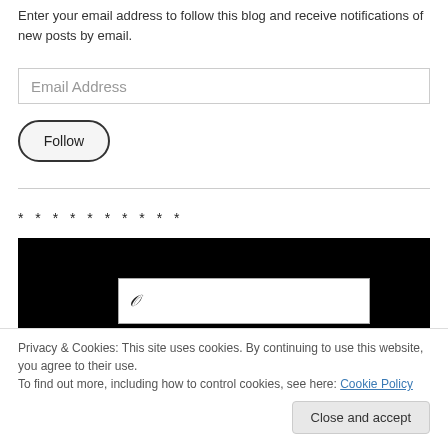Enter your email address to follow this blog and receive notifications of new posts by email.
Email Address
Follow
* * * * * * * * * *
[Figure (screenshot): Screenshot of a webpage with black background and a white content area partially visible]
Privacy & Cookies: This site uses cookies. By continuing to use this website, you agree to their use.
To find out more, including how to control cookies, see here: Cookie Policy
Close and accept